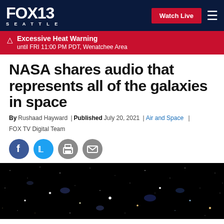FOX 13 SEATTLE | Watch Live
Excessive Heat Warning until FRI 11:00 PM PDT, Wenatchee Area
NASA shares audio that represents all of the galaxies in space
By Rushaad Hayward | Published July 20, 2021 | Air and Space | FOX TV Digital Team
[Figure (photo): Deep space image showing galaxies and stars against black background]